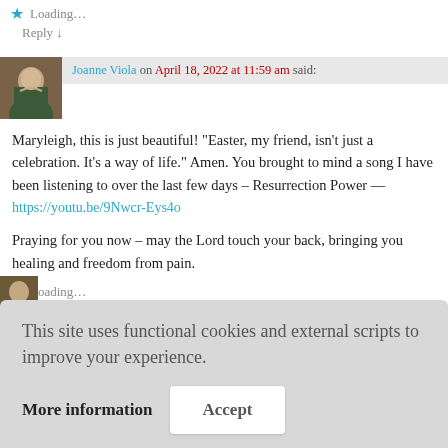Loading...
Reply ↓
Joanne Viola on April 18, 2022 at 11:59 am said:
Maryleigh, this is just beautiful! "Easter, my friend, isn't just a celebration. It's a way of life." Amen. You brought to mind a song I have been listening to over the last few days – Resurrection Power — https://youtu.be/9Nwcr-Eys4o
Praying for you now – may the Lord touch your back, bringing you healing and freedom from pain.
Loading...
This site uses functional cookies and external scripts to improve your experience.
More information
Accept